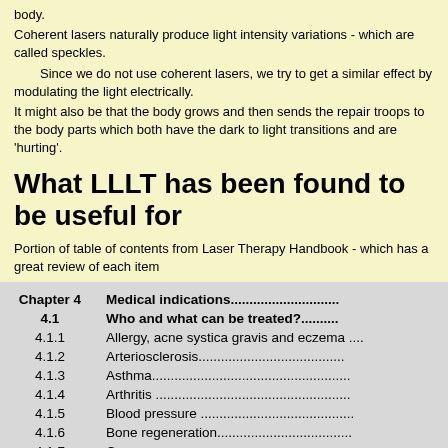body.
Coherent lasers naturally produce light intensity variations - which are called speckles.
Since we do not use coherent lasers, we try to get a similar effect by modulating the light electrically.
It might also be that the body grows and then sends the repair troops to the body parts which both have the dark to light transitions and are 'hurting'.
What LLLT has been found to be useful for
Portion of table of contents from Laser Therapy Handbook - which has a great review of each item
| Chapter/Section | Title |
| --- | --- |
| Chapter 4 | Medical indications............................. |
| 4.1 | Who and what can be treated?.......... |
| 4.1.1 | Allergy, acne systica gravis and eczema .... |
| 4.1.2 | Arteriosclerosis....................................... |
| 4.1.3 | Asthma..................................................... |
| 4.1.4 | Arthritis .................................................... |
| 4.1.5 | Blood pressure ......................................... |
| 4.1.6 | Bone regeneration.................................... |
| 4.1.7 | ... |